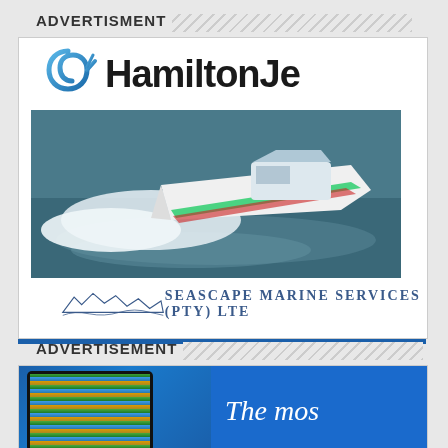ADVERTISMENT
[Figure (illustration): Hamilton Jet logo and Seascape Marine Services (Pty) Ltd advertisement showing a white speedboat on water]
ADVERTISEMENT
[Figure (illustration): Advertisement showing a tablet device with colorful data display and text 'The mo...' on blue background]